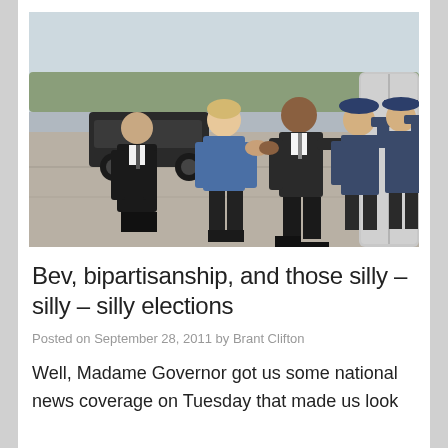[Figure (photo): Outdoor tarmac scene at an airport. A woman in a blue jacket shakes hands with a tall man in a dark suit. To the left stands a man in a dark suit. To the right stand two military officers in dress uniforms saluting. A black car is visible in the background along with trees and a pale sky.]
Bev, bipartisanship, and those silly – silly – silly elections
Posted on September 28, 2011 by Brant Clifton
Well, Madame Governor got us some national news coverage on Tuesday that made us look